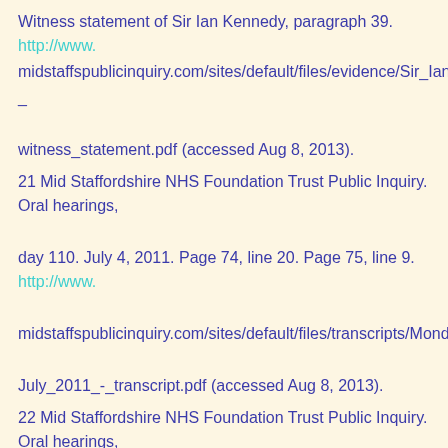Witness statement of Sir Ian Kennedy, paragraph 39. http://www.midstaffspublicinquiry.com/sites/default/files/evidence/Sir_Ian_Kennedy_-_witness_statement.pdf (accessed Aug 8, 2013).
21 Mid Staffordshire NHS Foundation Trust Public Inquiry. Oral hearings, day 110. July 4, 2011. Page 74, line 20. Page 75, line 9. http://www.midstaffspublicinquiry.com/sites/default/files/transcripts/Monday_4_July_2011_-_transcript.pdf (accessed Aug 8, 2013).
22 Mid Staffordshire NHS Foundation Trust Public Inquiry. Oral hearings, day 93. June 1, 2011. Page 11, line 24. Page 12, line 1. http://www.midstaffspublicinquiry.com/sites/default/files/transcripts/Monday_1_